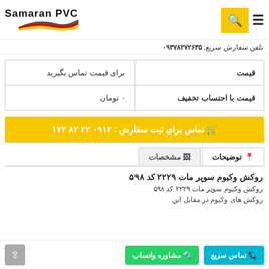[Figure (logo): Samaran PVC logo with German flag stripe design and brand name text]
تلفن سفارش سریع: ۰۹۳۷۸۲۷۲۶۳۵
| قیمت | برای قیمت تماس بگیرید |
| قیمت با احتساب تخفیف | ۰ تومان |
🛒 تماس برای ثبت سفارش : ۰۹۱۲ ۲۲ ۸۲ ۱۷۲
توضیحات | مشخصات
روکش وکیوم سوپر مات ۲۲۲۹ کد ۵۹۸
روکش وکیوم سوپر مات ۲۲۲۹ کد ۵۹۸
روکش های وکیوم در مقابل این